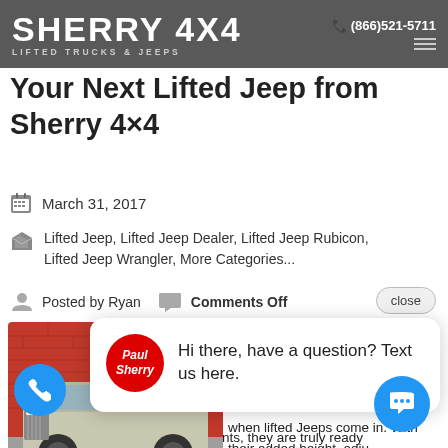SHERRY 4X4 LIFTED TRUCKS & JEEPS | (866)521-5711
Why You Should Buy Your Next Lifted Jeep from Sherry 4×4
March 31, 2017
Lifted Jeep, Lifted Jeep Dealer, Lifted Jeep Rubicon, Lifted Jeep Wrangler, More Categories...
Posted by Ryan   Comments Off
[Figure (photo): Jeep Wrangler vehicle parked in front of a red brick wall]
Hi there, have a question? Text us here.
those that are Trail Rated. This is when lifted Jeeps come in. With their added height, adjusted suspensions, and other enhancements, they are truly ready